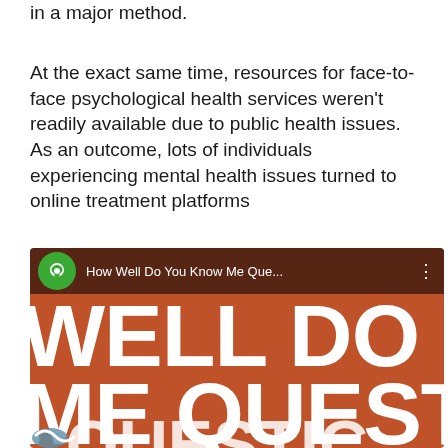in a major method.
At the exact same time, resources for face-to-face psychological health services weren't readily available due to public health issues. As an outcome, lots of individuals experiencing mental health issues turned to online treatment platforms
[Figure (screenshot): Screenshot of a YouTube video thumbnail showing 'How Well Do You Know Me Que...' with large white bold text reading 'WELL DO ME QUEST' on an orange-brown background, with a green circular channel icon.]